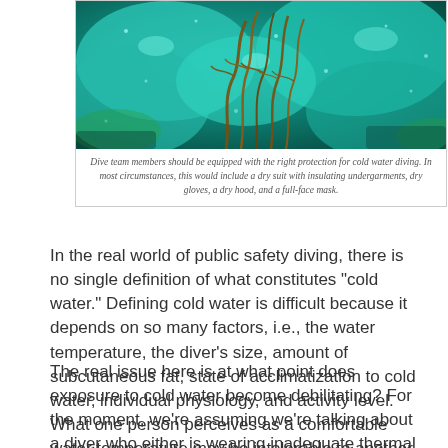[Figure (photo): Underwater photograph showing teal/turquoise coral or algae with brown seaweed, depicting an underwater diving environment.]
Dive team members should be equipped with the right protection for cold water diving. In most circumstances, this would include a dry suit with insulating undergarments, dry gloves, a dry hood, and a full-face mask.
In the real world of public safety diving, there is no single definition of what constitutes “cold water.” Defining cold water is difficult because it depends on so many factors, i.e., the water temperature, the diver’s size, amount of subcutaneous fat, state of acclimatization to cold water, individual physiology, and activity level. What one person perceives as a comfortable water temperature may be intolerable to another.
The real issue here is at what point does exposure to cold water become debilitating? For the moment, we’re assuming we’re talking about a diver who either is wearing inadequate thermal protection, or whose thermal protection has been compromised, i.e. a flooded dry suit. There is a continuum of responses to cold water that runs